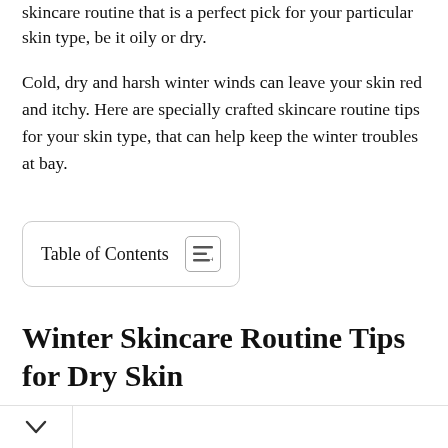skincare routine that is a perfect pick for your particular skin type, be it oily or dry.
Cold, dry and harsh winter winds can leave your skin red and itchy. Here are specially crafted skincare routine tips for your skin type, that can help keep the winter troubles at bay.
Table of Contents
Winter Skincare Routine Tips for Dry Skin